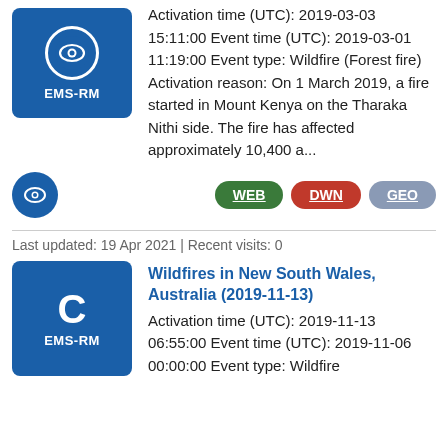[Figure (logo): EMS-RM badge with eye icon, blue background]
Activation time (UTC): 2019-03-03 15:11:00 Event time (UTC): 2019-03-01 11:19:00 Event type: Wildfire (Forest fire) Activation reason: On 1 March 2019, a fire started in Mount Kenya on the Tharaka Nithi side. The fire has affected approximately 10,400 a...
[Figure (logo): Eye icon button, blue circle]
[Figure (logo): WEB button green, DWN button red, GEO button grey-blue]
Last updated: 19 Apr 2021 | Recent visits: 0
[Figure (logo): EMS-RM badge with letter C, blue background]
Wildfires in New South Wales, Australia (2019-11-13)
Activation time (UTC): 2019-11-13 06:55:00 Event time (UTC): 2019-11-06 00:00:00 Event type: Wildfire